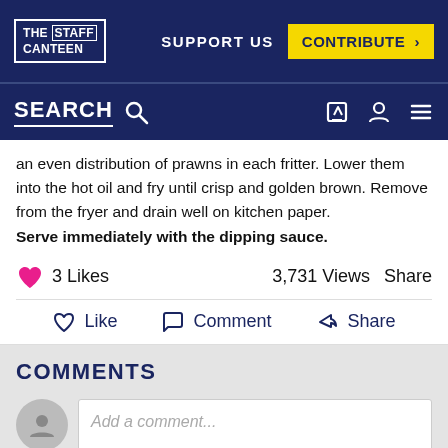THE STAFF CANTEEN | SUPPORT US | CONTRIBUTE >
SEARCH
an even distribution of prawns in each fritter. Lower them into the hot oil and fry until crisp and golden brown. Remove from the fryer and drain well on kitchen paper.
Serve immediately with the dipping sauce.
3 Likes   3,731 Views   Share
Like   Comment   Share
COMMENTS
Add a comment...